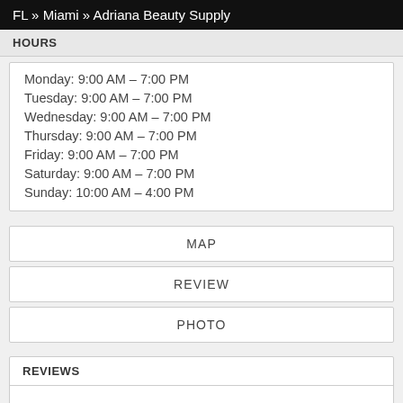FL » Miami » Adriana Beauty Supply
HOURS
Monday: 9:00 AM – 7:00 PM
Tuesday: 9:00 AM – 7:00 PM
Wednesday: 9:00 AM – 7:00 PM
Thursday: 9:00 AM – 7:00 PM
Friday: 9:00 AM – 7:00 PM
Saturday: 9:00 AM – 7:00 PM
Sunday: 10:00 AM – 4:00 PM
MAP
REVIEW
PHOTO
REVIEWS